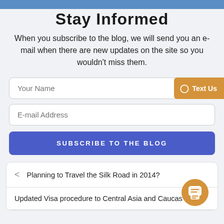Stay Informed
When you subscribe to the blog, we will send you an e-mail when there are new updates on the site so you wouldn't miss them.
[Figure (screenshot): Blog subscription form with 'Your Name' input, 'E-mail Address' input, 'SUBSCRIBE TO THE BLOG' button, and a 'Text Us' button overlay on the right]
Planning to Travel the Silk Road in 2014?
Updated Visa procedure to Central Asia and Caucas...